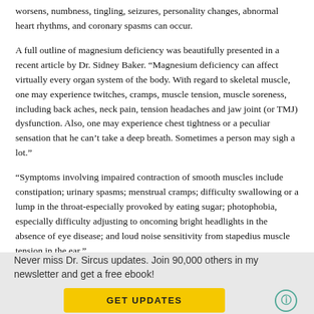worsens, numbness, tingling, seizures, personality changes, abnormal heart rhythms, and coronary spasms can occur.
A full outline of magnesium deficiency was beautifully presented in a recent article by Dr. Sidney Baker. “Magnesium deficiency can affect virtually every organ system of the body. With regard to skeletal muscle, one may experience twitches, cramps, muscle tension, muscle soreness, including back aches, neck pain, tension headaches and jaw joint (or TMJ) dysfunction. Also, one may experience chest tightness or a peculiar sensation that he can’t take a deep breath. Sometimes a person may sigh a lot.”
“Symptoms involving impaired contraction of smooth muscles include constipation; urinary spasms; menstrual cramps; difficulty swallowing or a lump in the throat-especially provoked by eating sugar; photophobia, especially difficulty adjusting to oncoming bright headlights in the absence of eye disease; and loud noise sensitivity from stapedius muscle tension in the ear.”
Never miss Dr. Sircus updates. Join 90,000 others in my newsletter and get a free ebook!
GET UPDATES